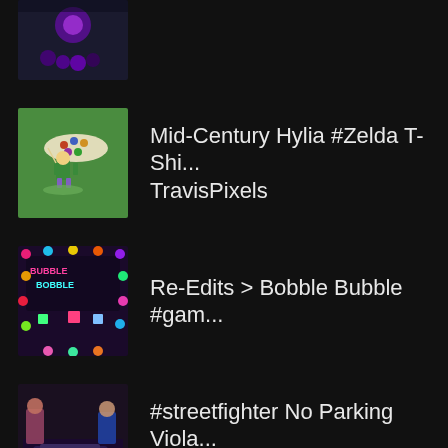[Figure (screenshot): Thumbnail image: dark background with purple/black artwork and small character figures - partially visible at top]
[Figure (screenshot): Thumbnail image: green background with cartoon Zelda-style character holding a large flat circular item with dots - Mid-Century Hylia design]
Mid-Century Hylia #Zelda T-Shi... TravisPixels
[Figure (screenshot): Thumbnail image: colorful pixel art Bubble Bobble game re-edit with neon colors and circular decorative elements]
Re-Edits > Bobble Bubble #gam...
[Figure (screenshot): Thumbnail image: Street Fighter characters around a car with No Parking sign - dark background]
#streetfighter No Parking Viola... by Likelikes
[Figure (screenshot): Thumbnail image: Mortal Kombat character action figure - partially visible at bottom]
Mortal Kombat Action Figure F...